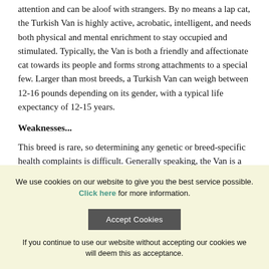attention and can be aloof with strangers. By no means a lap cat, the Turkish Van is highly active, acrobatic, intelligent, and needs both physical and mental enrichment to stay occupied and stimulated. Typically, the Van is both a friendly and affectionate cat towards its people and forms strong attachments to a special few. Larger than most breeds, a Turkish Van can weigh between 12-16 pounds depending on its gender, with a typical life expectancy of 12-15 years.
Weaknesses...
This breed is rare, so determining any genetic or breed-specific health complaints is difficult. Generally speaking, the Van is a very healthy and resilient breed with few health conditions documented, however deafness can occur in cats with two blue eyes. The Van is also prone to easy weight gain, so try to
We use cookies on our website to give you the best service possible. Click here for more information.
Accept Cookies
If you continue to use our website without accepting our cookies we will deem this as acceptance.